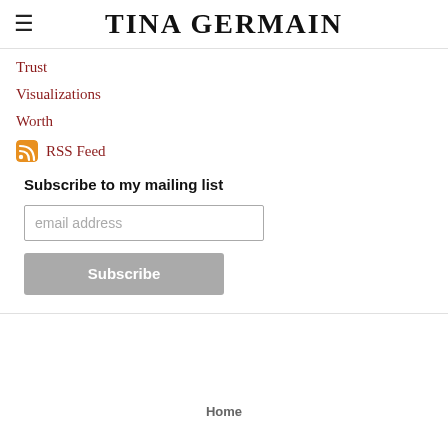TINA GERMAIN
Trust
Visualizations
Worth
RSS Feed
Subscribe to my mailing list
email address
Subscribe
Home